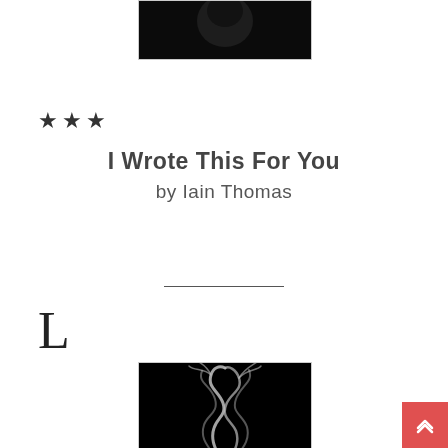[Figure (photo): Partial view of a book cover showing a dark/black background with a face or silhouette, cropped at top]
★★★
I Wrote This For You
by Iain Thomas
L
[Figure (photo): Book cover of 'I Wrote This For You' by Iain Thomas showing white smoke curling against a black background]